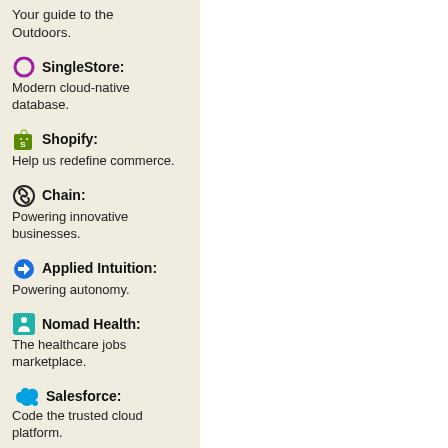Your guide to the Outdoors.
SingleStore: Modern cloud-native database.
Shopify: Help us redefine commerce.
Chain: Powering innovative businesses.
Applied Intuition: Powering autonomy.
Nomad Health: The healthcare jobs marketplace.
Salesforce: Code the trusted cloud platform.